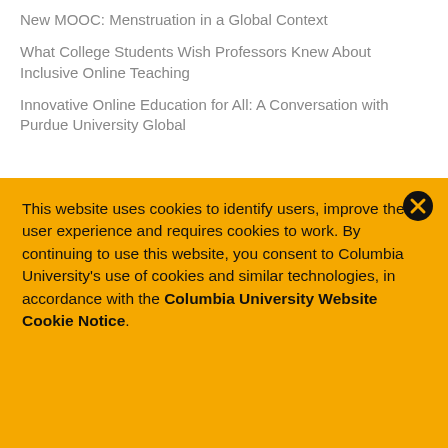New MOOC: Menstruation in a Global Context
What College Students Wish Professors Knew About Inclusive Online Teaching
Innovative Online Education for All: A Conversation with Purdue University Global
This website uses cookies to identify users, improve the user experience and requires cookies to work. By continuing to use this website, you consent to Columbia University's use of cookies and similar technologies, in accordance with the Columbia University Website Cookie Notice.